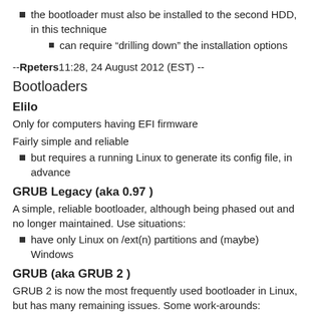the bootloader must also be installed to the second HDD, in this technique
can require “drilling down” the installation options
--Rpeters11:28, 24 August 2012 (EST) --
Bootloaders
Elilo
Only for computers having EFI firmware
Fairly simple and reliable
but requires a running Linux to generate its config file, in advance
GRUB Legacy (aka 0.97 )
A simple, reliable bootloader, although being phased out and no longer maintained. Use situations:
have only Linux on /ext(n) partitions and (maybe) Windows
GRUB (aka GRUB 2 )
GRUB 2 is now the most frequently used bootloader in Linux, but has many remaining issues. Some work-arounds:
"on-the-fly" Mode